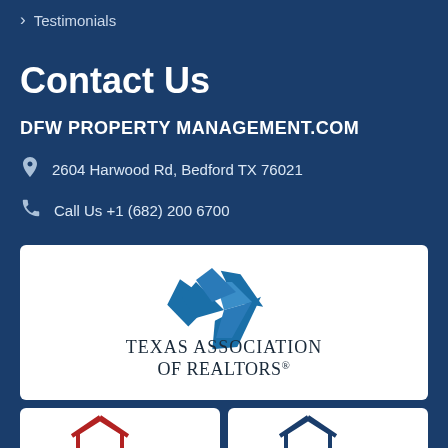Testimonials
Contact Us
DFW PROPERTY MANAGEMENT.COM
2604 Harwood Rd, Bedford TX 76021
Call Us +1 (682) 200 6700
[Figure (logo): Texas Association of Realtors logo with blue geometric star shape above the text]
[Figure (logo): Two partial logos at the bottom, one with red house outline and one with blue house outline]